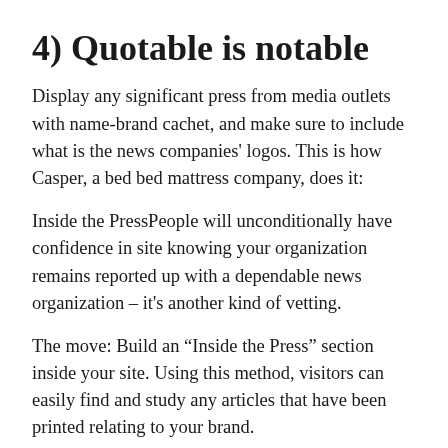4) Quotable is notable
Display any significant press from media outlets with name-brand cachet, and make sure to include what is the news companies' logos. This is how Casper, a bed bed mattress company, does it:
Inside the PressPeople will unconditionally have confidence in site knowing your organization remains reported up with a dependable news organization – it's another kind of vetting.
The move: Build an “Inside the Press” section inside your site. Using this method, visitors can easily find and study any articles that have been printed relating to your brand.
5) Searching professional